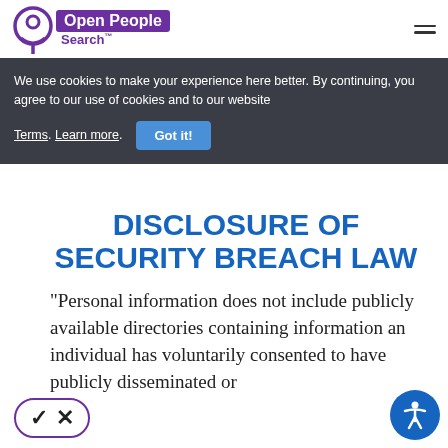[Figure (logo): Open People Search logo with purple icon and text]
We use cookies to make your experience here better. By continuing, you agree to our use of cookies and to our website Terms. Learn more.
DISCLOSURE OF SECURITY BREACH LAW
“Personal information does not include publicly available directories containing information an individual has voluntarily consented to have publicly disseminated or